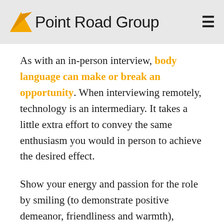Point Road Group
As with an in-person interview, body language can make or break an opportunity. When interviewing remotely, technology is an intermediary. It takes a little extra effort to convey the same enthusiasm you would in person to achieve the desired effect.
Show your energy and passion for the role by smiling (to demonstrate positive demeanor, friendliness and warmth), nodding (to communicate understanding) and using animated facial expressions and hand gestures (to show you are expressive, open